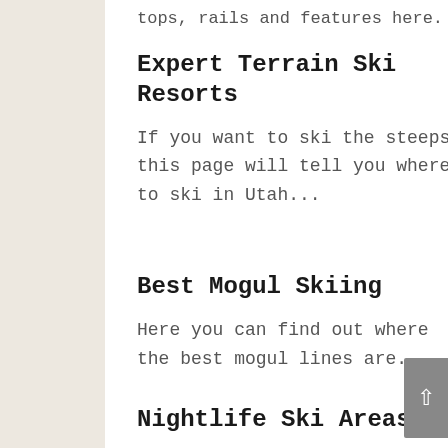tops, rails and features here.
Expert Terrain Ski Resorts
If you want to ski the steeps, this page will tell you where to ski in Utah...
Best Mogul Skiing
Here you can find out where the best mogul lines are.
Nightlife Ski Areas
Find the best towns for wining, dining and enjoying the apres ski environment.